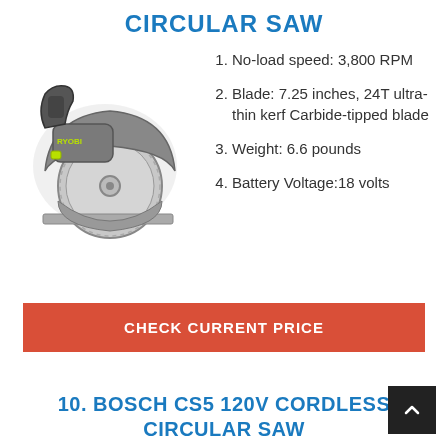CIRCULAR SAW
[Figure (photo): Ryobi cordless circular saw, grey and yellow-green, viewed from front-left angle showing blade and guard.]
No-load speed: 3,800 RPM
Blade: 7.25 inches, 24T ultra-thin kerf Carbide-tipped blade
Weight: 6.6 pounds
Battery Voltage:18 volts
CHECK CURRENT PRICE
10. BOSCH CS5 120V CORDLESS CIRCULAR SAW